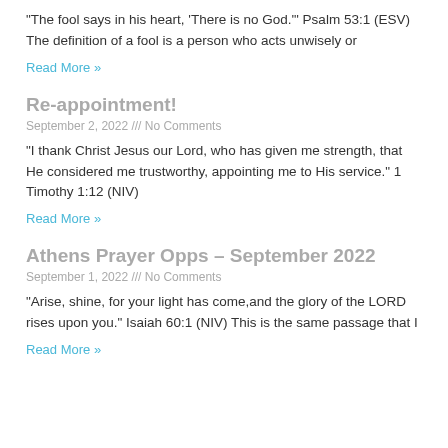“The fool says in his heart, ‘There is no God.’” Psalm 53:1 (ESV) The definition of a fool is a person who acts unwisely or
Read More »
Re-appointment!
September 2, 2022 /// No Comments
“I thank Christ Jesus our Lord, who has given me strength, that He considered me trustworthy, appointing me to His service.” 1 Timothy 1:12 (NIV)
Read More »
Athens Prayer Opps – September 2022
September 1, 2022 /// No Comments
“Arise, shine, for your light has come,and the glory of the LORD rises upon you.” Isaiah 60:1 (NIV)  This is the same passage that I
Read More »